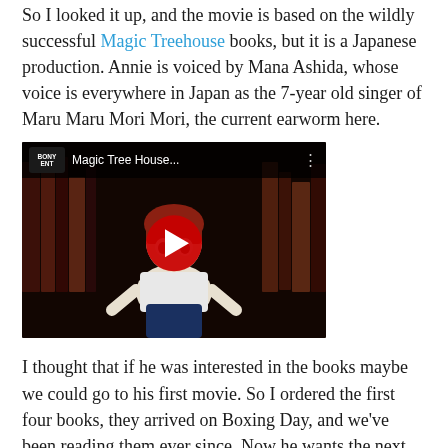So I looked it up, and the movie is based on the wildly successful Magic Treehouse books, but it is a Japanese production. Annie is voiced by Mana Ashida, whose voice is everywhere in Japan as the 7-year old singer of Maru Maru Mori Mori, the current earworm here.
[Figure (screenshot): YouTube video embed showing 'Magic Tree House...' with an animated anime-style red-haired boy character on a dark bookshelf background, with a red play button in the center. The BONY ENT channel logo is shown in the top left.]
I thought that if he was interested in the books maybe we could go to his first movie. So I ordered the first four books, they arrived on Boxing Day, and we've been reading them ever since. Now he wants the next four asap!